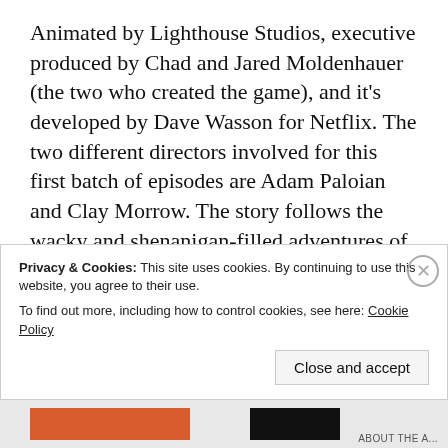Animated by Lighthouse Studios, executive produced by Chad and Jared Moldenhauer (the two who created the game), and it's developed by Dave Wasson for Netflix. The two different directors involved for this first batch of episodes are Adam Paloian and Clay Morrow. The story follows the wacky and shenanigan-filled adventures of Cuphead and Mugman, voiced by Tru Valentino and Frank Todaro. They go all around the Inkwell Isle encountering the individuals that live there
Privacy & Cookies: This site uses cookies. By continuing to use this website, you agree to their use.
To find out more, including how to control cookies, see here: Cookie Policy
Close and accept